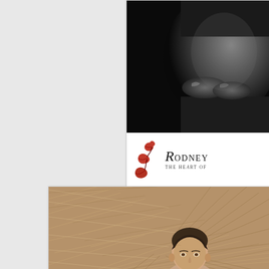[Figure (photo): Black and white photo showing hands holding a pregnant belly against a dark background, cropped in upper right]
[Figure (logo): Rodney photography logo with red ivy leaves and cursive/serif text reading RODNEY and THE HEART OF... below]
[Figure (photo): Sepia-toned photo of a man lying in hay/straw, head peeking up, visible from forehead to top of head, with abundant straw texture]